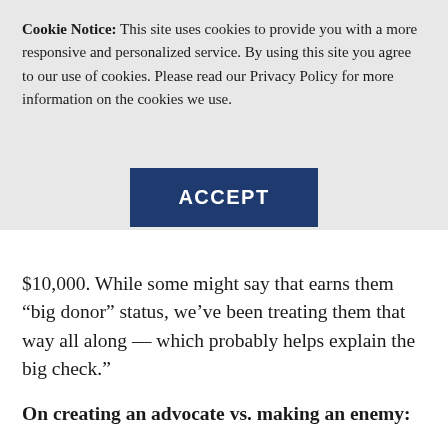Cookie Notice: This site uses cookies to provide you with a more responsive and personalized service. By using this site you agree to our use of cookies. Please read our Privacy Policy for more information on the cookies we use.
ACCEPT
$10,000. While some might say that earns them “big donor” status, we’ve been treating them that way all along — which probably helps explain the big check.”
On creating an advocate vs. making an enemy:
“Hikers don’t always understand the native alpine ecosystems, but there’s a good chance they love the scenery and thrive on the adventure the mountains provide. So when they unknowingly trample through a field of flowers that have a seven-year life cycle, I repress the urge to scream and, instead, feel good about the